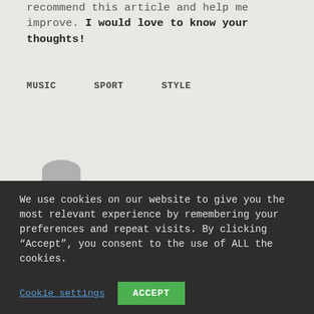recommend this article and help me improve. I would love to know your thoughts!
MUSIC
SPORT
STYLE
We use cookies on our website to give you the most relevant experience by remembering your preferences and repeat visits. By clicking “Accept”, you consent to the use of ALL the cookies.
Cookie settings
ACCEPT